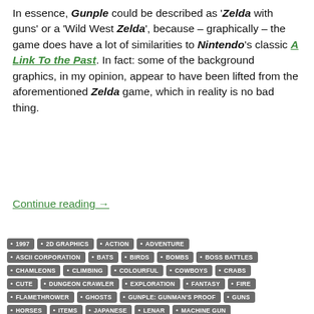In essence, Gunple could be described as 'Zelda with guns' or a 'Wild West Zelda', because – graphically – the game does have a lot of similarities to Nintendo's classic A Link To the Past. In fact: some of the background graphics, in my opinion, appear to have been lifted from the aforementioned Zelda game, which in reality is no bad thing.
Continue reading →
1997
2D GRAPHICS
ACTION
ADVENTURE
ASCII CORPORATION
BATS
BIRDS
BOMBS
BOSS BATTLES
CHAMLEONS
CLIMBING
COLOURFUL
COWBOYS
CRABS
CUTE
DUNGEON CRAWLER
EXPLORATION
FANTASY
FIRE
FLAMETHROWER
GHOSTS
GUNPLE: GUNMAN'S PROOF
GUNS
HORSES
ITEMS
JAPANESE
LENAR
MACHINE GUN
OBSCURE
OVERHEAD
PISTOLS
PUNCHES
RETRO GAMING
ROLE-PLAYING GAME
RPG
SCLFI